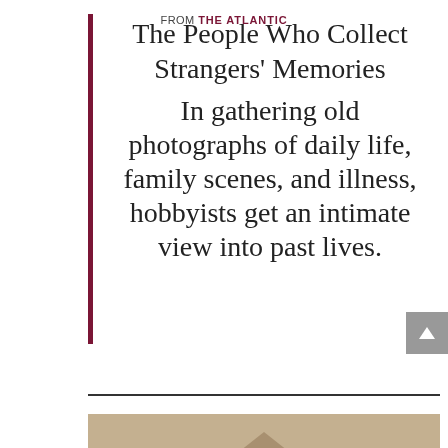The People Who Collect Strangers' Memories
In gathering old photographs of daily life, family scenes, and illness, hobbyists get an intimate view into past lives.
FROM THE ATLANTIC
[Figure (photo): Partial view of an old sepia photograph showing a triangular tent or structure shape at the bottom of the page]